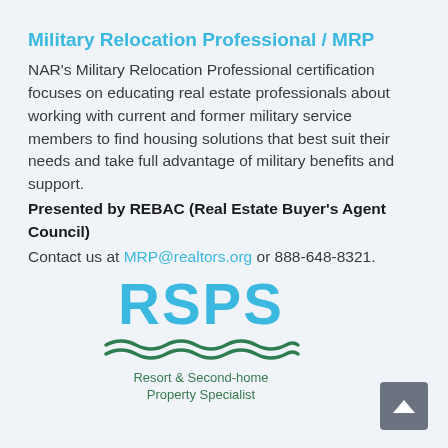Military Relocation Professional / MRP
NAR's Military Relocation Professional certification focuses on educating real estate professionals about working with current and former military service members to find housing solutions that best suit their needs and take full advantage of military benefits and support.
Presented by REBAC (Real Estate Buyer's Agent Council)
Contact us at MRP@realtors.org or 888-648-8321.
[Figure (logo): RSPS logo with large blue letters 'RSPS', a green wave decoration, and tagline 'Resort & Second-home Property Specialist']